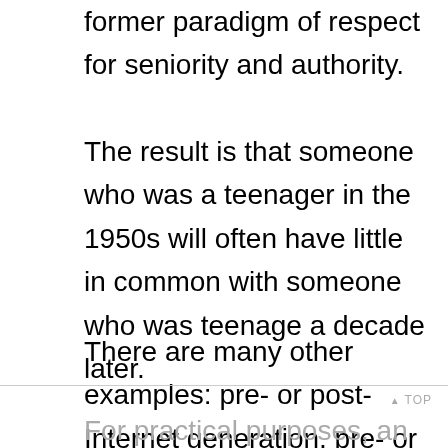former paradigm of respect for seniority and authority.
The result is that someone who was a teenager in the 1950s will often have little in common with someone who was teenage a decade later.
There are many other examples: pre- or post-Internet generation, pre- or post-conscripted military service, or earlier, pre- or post-war, etc.
For practical purposes, an age difference